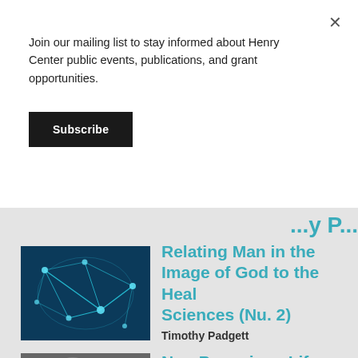Join our mailing list to stay informed about Henry Center public events, publications, and grant opportunities.
Subscribe
[Figure (photo): Blue glowing neural network or scientific visualization on dark background]
Relating Man in the Image of God to the Health Sciences (Nu. 2)
Timothy Padgett
[Figure (photo): Black and white portrait of a man in a suit wearing glasses, looking to the side]
Neo-Paganism: Life Without the Emma...